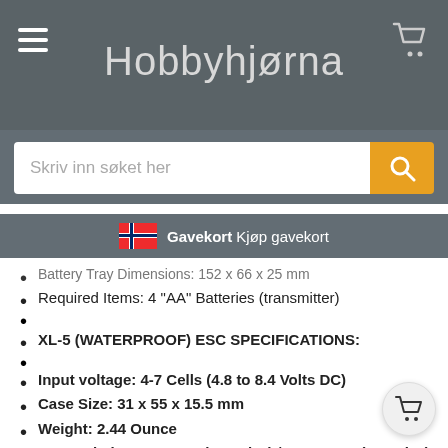Hobbyhjørna
Skriv inn søket her
Gavekort Kjøp gavekort
Battery Tray Dimensions: 152 x 66 x 25 mm (truncated/obscured)
Required Items: 4 "AA" Batteries (transmitter)
XL-5 (WATERPROOF) ESC SPECIFICATIONS:
Input voltage: 4-7 Cells (4.8 to 8.4 Volts DC)
Case Size: 31 x 55 x 15.5 mm
Weight: 2.44 Ounce
Motor Limit: 15-turns** (540 Size) / 12-turns** (550 Size)
On Resistance Forward: 0.007 Ohms
On Resistance Reverse: 0.014 Ohms